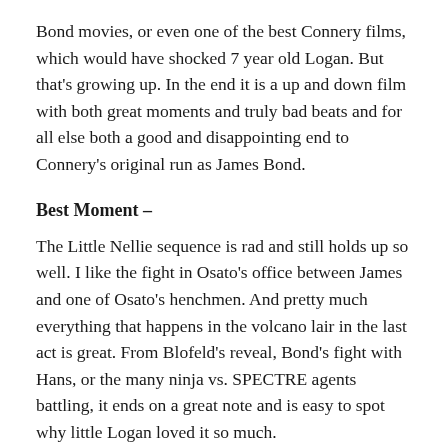Bond movies, or even one of the best Connery films, which would have shocked 7 year old Logan. But that's growing up. In the end it is a up and down film with both great moments and truly bad beats and for all else both a good and disappointing end to Connery's original run as James Bond.
Best Moment –
The Little Nellie sequence is rad and still holds up so well. I like the fight in Osato's office between James and one of Osato's henchmen. And pretty much everything that happens in the volcano lair in the last act is great. From Blofeld's reveal, Bond's fight with Hans, or the many ninja vs. SPECTRE agents battling, it ends on a great note and is easy to spot why little Logan loved it so much.
The Villain –